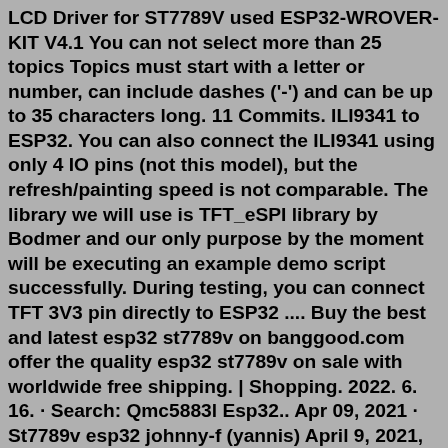LCD Driver for ST7789V used ESP32-WROVER-KIT V4.1 You can not select more than 25 topics Topics must start with a letter or number, can include dashes ('-') and can be up to 35 characters long. 11 Commits. ILI9341 to ESP32. You can also connect the ILI9341 using only 4 IO pins (not this model), but the refresh/painting speed is not comparable. The library we will use is TFT_eSPI library by Bodmer and our only purpose by the moment will be executing an example demo script successfully. During testing, you can connect TFT 3V3 pin directly to ESP32 .... Buy the best and latest esp32 st7789v on banggood.com offer the quality esp32 st7789v on sale with worldwide free shipping. | Shopping. 2022. 6. 16. · Search: Qmc5883l Esp32.. Apr 09, 2021 · St7789v esp32 johnny-f (yannis) April 9, 2021, 11:17pm #1 Hello, I have Esphome add on installed on home assistant. I am trying to use a 240X320 TFT Display st7789v on a nodemcu-32s (v1.2) While i am trying the most simple "hello world" example and it compliles succesfully the screen displays a partial blocks indeut and garbage...